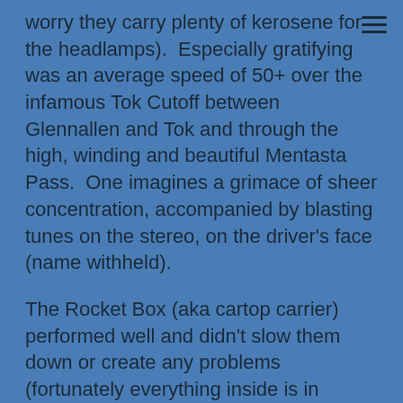worry they carry plenty of kerosene for the headlamps).  Especially gratifying was an average speed of 50+ over the infamous Tok Cutoff between Glennallen and Tok and through the high, winding and beautiful Mentasta Pass.  One imagines a grimace of sheer concentration, accompanied by blasting tunes on the stereo, on the driver's face (name withheld).
The Rocket Box (aka cartop carrier) performed well and didn't slow them down or create any problems (fortunately everything inside is in sealed vacuum bags because the Rocket is probably packed full with snow by now).
A sumptuous meal was had at Fast Freddie's in wild and crazy downtown Tok and the remainder of the evening